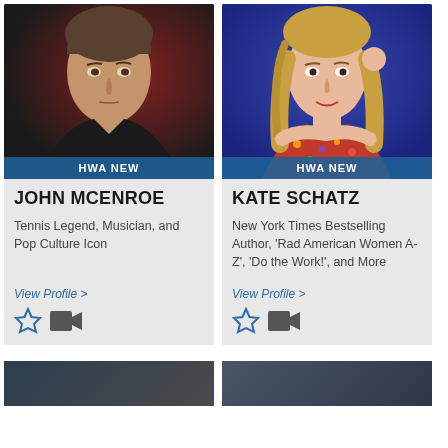[Figure (photo): Photo of John McEnroe - tennis legend, with dark background, red/maroon tones. Blue badge at bottom reads HWA NEW]
JOHN MCENROE
Tennis Legend, Musician, and Pop Culture Icon
View Profile >
[Figure (photo): Photo of Kate Schatz - woman with long blonde hair, colorful patterned top, blue background. Blue badge at bottom reads HWA NEW]
KATE SCHATZ
New York Times Bestselling Author, 'Rad American Women A-Z', 'Do the Work!', and More
View Profile >
[Figure (photo): Partially visible photos at bottom of page for additional speakers]